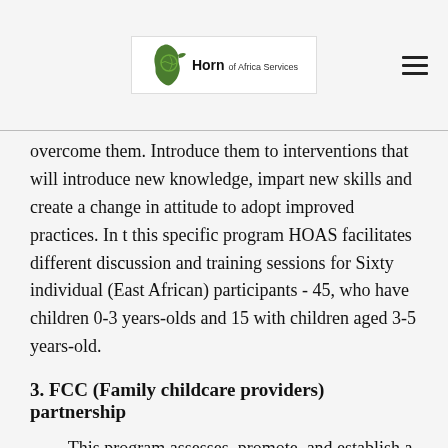Horn of Africa Services
overcome them. Introduce them to interventions that will introduce new knowledge, impart new skills and create a change in attitude to adopt improved practices. In t this specific program HOAS facilitates different discussion and training sessions for Sixty individual (East African) participants - 45, who have children 0-3 years-olds and 15 with children aged 3-5 years-old.
3. FCC (Family childcare providers) partnership
This program assesses, promote, and establish a